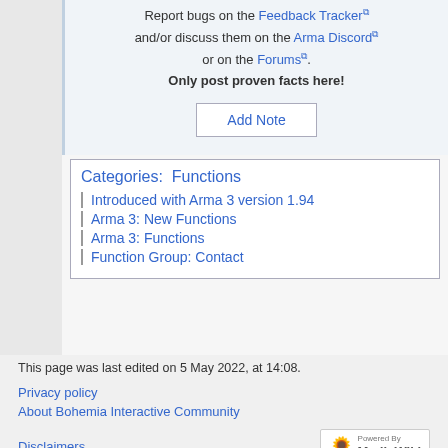Report bugs on the Feedback Tracker and/or discuss them on the Arma Discord or on the Forums. Only post proven facts here!
Add Note
Categories: Functions | Introduced with Arma 3 version 1.94 | Arma 3: New Functions | Arma 3: Functions | Function Group: Contact
This page was last edited on 5 May 2022, at 14:08.
Privacy policy
About Bohemia Interactive Community
Disclaimers